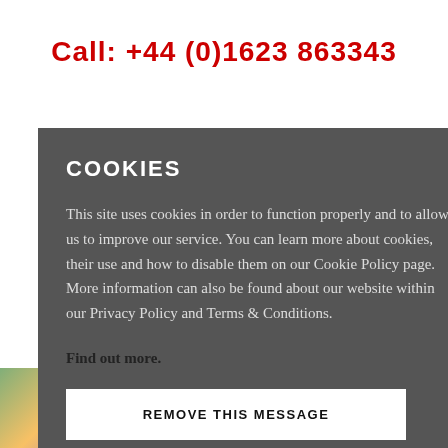Call: +44 (0)1623 863343
RY
D BRAND OF
COOKIES
This site uses cookies in order to function properly and to allow us to improve our service. You can learn more about cookies, their use and how to disable them on our Cookie Policy page. More information can also be found about our website within our Privacy Policy and Terms & Conditions. Find out more.
REMOVE THIS MESSAGE